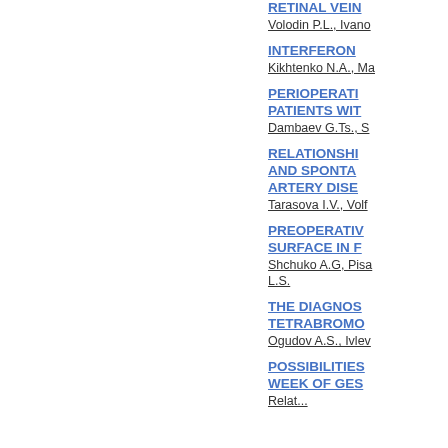RETINAL VEIN
Volodin P.L., Ivano
INTERFERON
Kikhtenko N.A., Ma
PERIOPERATI
PATIENTS WIT
Dambaev G.Ts., S
RELATIONSHI
AND SPONTA
ARTERY DISE
Tarasova I.V., Volf
PREOPERATIV
SURFACE IN F
Shchuko A.G, Pisa
L.S.
THE DIAGNOS
TETRABROMO
Ogudov A.S., Ivlev
POSSIBILITIES
WEEK OF GES
Relat...